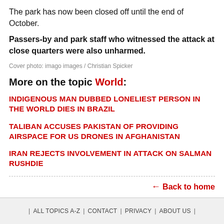The park has now been closed off until the end of October.
Passers-by and park staff who witnessed the attack at close quarters were also unharmed.
Cover photo: imago images / Christian Spicker
More on the topic World:
INDIGENOUS MAN DUBBED LONELIEST PERSON IN THE WORLD DIES IN BRAZIL
TALIBAN ACCUSES PAKISTAN OF PROVIDING AIRSPACE FOR US DRONES IN AFGHANISTAN
IRAN REJECTS INVOLVEMENT IN ATTACK ON SALMAN RUSHDIE
← Back to home
| ALL TOPICS A-Z | CONTACT | PRIVACY | ABOUT US |